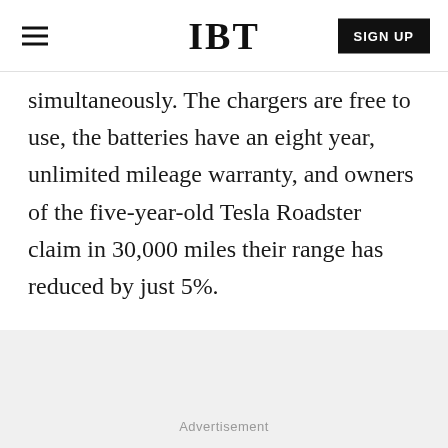IBT
simultaneously. The chargers are free to use, the batteries have an eight year, unlimited mileage warranty, and owners of the five-year-old Tesla Roadster claim in 30,000 miles their range has reduced by just 5%.
Advertisement